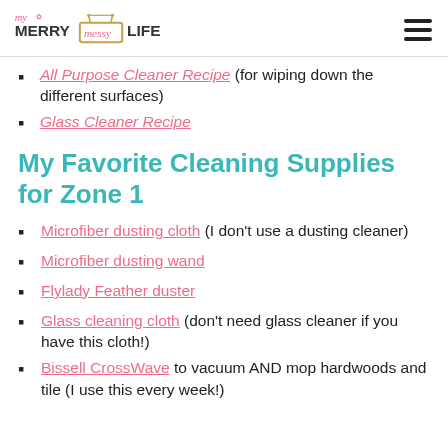My Merry Messy Life
All Purpose Cleaner Recipe (for wiping down the different surfaces)
Glass Cleaner Recipe
My Favorite Cleaning Supplies for Zone 1
Microfiber dusting cloth (I don't use a dusting cleaner)
Microfiber dusting wand
Flylady Feather duster
Glass cleaning cloth (don't need glass cleaner if you have this cloth!)
Bissell CrossWave to vacuum AND mop hardwoods and tile (I use this every week!)